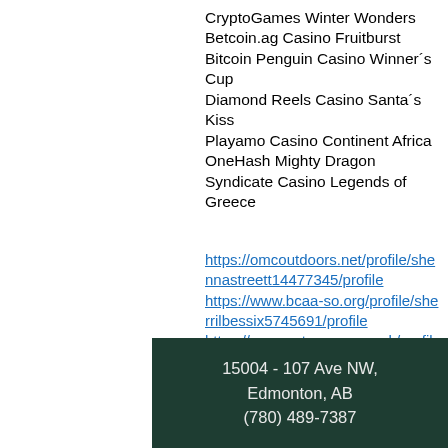CryptoGames Winter Wonders
Betcoin.ag Casino Fruitburst
Bitcoin Penguin Casino Winner´s Cup
Diamond Reels Casino Santa´s Kiss
Playamo Casino Continent Africa
OneHash Mighty Dragon
Syndicate Casino Legends of Greece
https://omcoutdoors.net/profile/shennastreett14477345/profile
https://www.bcaa-so.org/profile/sherrilbessix5745691/profile
https://www.actwessex.co.uk/profile/lucilegennings10834593/profile
https://www.lpdvshop.com/profile/eloisewahlert15580684/profile
15004 - 107 Ave NW,
Edmonton, AB
(780) 489-7387